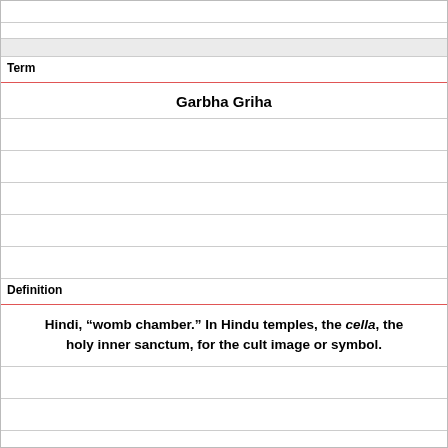Term
Garbha Griha
Definition
Hindi, “womb chamber.” In Hindu temples, the cella, the holy inner sanctum, for the cult image or symbol.